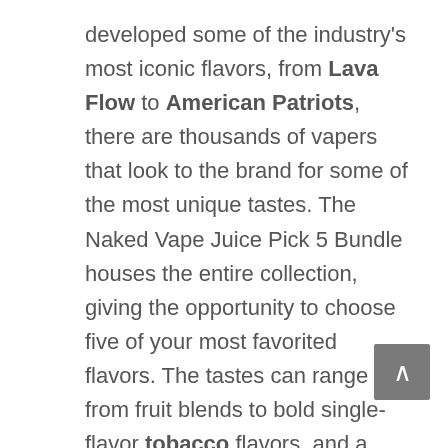developed some of the industry's most iconic flavors, from Lava Flow to American Patriots, there are thousands of vapers that look to the brand for some of the most unique tastes. The Naked Vape Juice Pick 5 Bundle houses the entire collection, giving the opportunity to choose five of your most favorited flavors. The tastes can range from fruit blends to bold single-flavor tobacco flavors, and a little something for everyone in between. Choose five 60mL bottles (total of 300mL) that are your preferred choice in flavor, select a nicotine level from a list of 0mg, 3mg, 6mg, and 12mg, and ready yourself to explore a group full of remarkable tastes. Headquartered in Torrance, CA, Naked 100 has elevated itself into a monstrous brand since its start in 2012. It is comprised of many flavors spread across